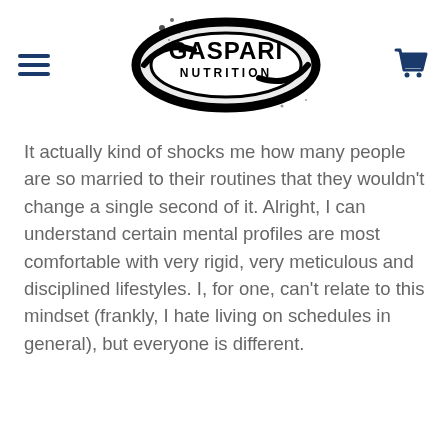Gaspari Nutrition logo with menu and cart icons
It actually kind of shocks me how many people are so married to their routines that they wouldn’t change a single second of it. Alright, I can understand certain mental profiles are most comfortable with very rigid, very meticulous and disciplined lifestyles. I, for one, can’t relate to this mindset (frankly, I hate living on schedules in general), but everyone is different.